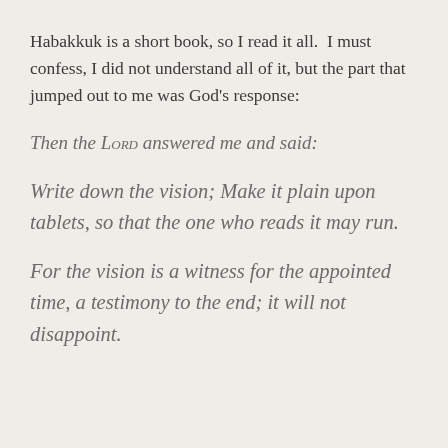Habakkuk is a short book, so I read it all.  I must confess, I did not understand all of it, but the part that jumped out to me was God's response:
Then the LORD answered me and said:
Write down the vision; Make it plain upon tablets, so that the one who reads it may run.
For the vision is a witness for the appointed time, a testimony to the end; it will not disappoint.